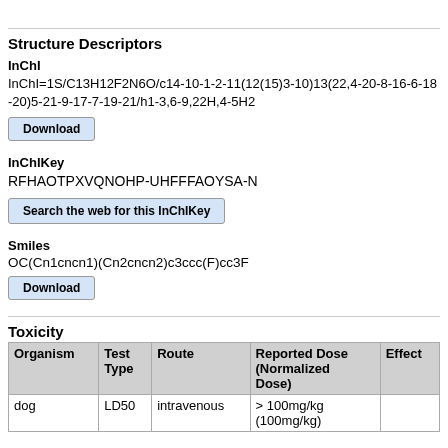Structure Descriptors
InChI
InChI=1S/C13H12F2N6O/c14-10-1-2-11(12(15)3-10)13(22,4-20-8-16-6-18-20)5-21-9-17-7-19-21/h1-3,6-9,22H,4-5H2
Download
InChIKey
RFHAOTPXVQNOHP-UHFFFAOYSA-N
Search the web for this InChIKey
Smiles
OC(Cn1cncn1)(Cn2cncn2)c3ccc(F)cc3F
Download
Toxicity
| Organism | Test Type | Route | Reported Dose (Normalized Dose) | Effect |
| --- | --- | --- | --- | --- |
| dog | LD50 | intravenous | > 100mg/kg
(100mg/kg) |  |